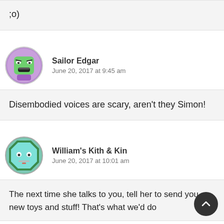;o)
Sailor Edgar
June 20, 2017 at 9:45 am
Disembodied voices are scary, aren't they Simon!
William's Kith & Kin
June 20, 2017 at 10:01 am
The next time she talks to you, tell her to send you new toys and stuff! That's what we'd do